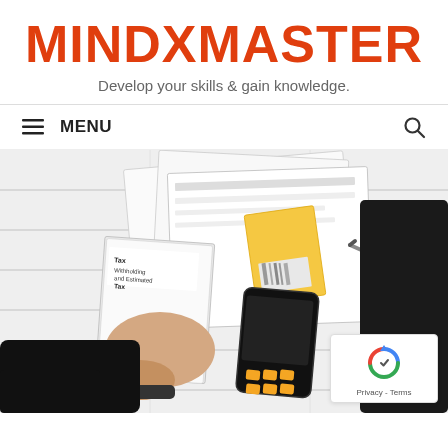MINDXMASTER
Develop your skills & gain knowledge.
≡ MENU
[Figure (photo): Overhead view of a person in black clothing sitting on a white wooden floor surrounded by tax documents, a smartphone calculator, a pen, and a yellow notepad. A booklet labeled 'Tax Withholding and Estimated Tax' is visible among the papers.]